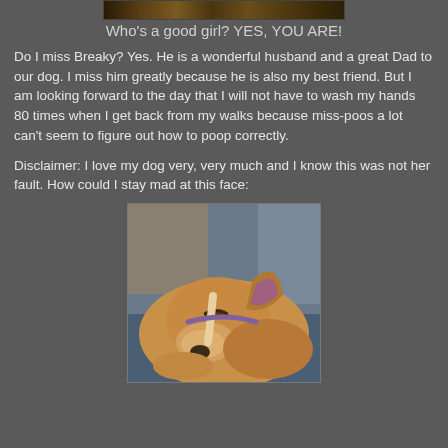[Figure (photo): Cropped top strip of an outdoor/nature photo]
Who's a good girl? YES, YOU ARE!
Do I miss Breaky? Yes. He is a wonderful husband and a great Dad to our dog. I miss him greatly because he is also my best friend. But I am looking forward to the day that I will not have to wash my hands 80 times when I get back from my walks because miss-poos a lot can't seem to figure out how to poop correctly.
Disclaimer: I love my dog very, very much and I know this was not her fault. How could I stay mad at this face:
[Figure (photo): Close-up photo of a tan/golden pit bull type dog resting its head down, eyes closed or nearly closed, with a blue background]